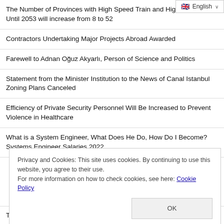English
The Number of Provinces with High Speed Train and High Speed Train Until 2053 will increase from 8 to 52
Contractors Undertaking Major Projects Abroad Awarded
Farewell to Adnan Oğuz Akyarlı, Person of Science and Politics
Statement from the Minister Institution to the News of Canal Istanbul Zoning Plans Canceled
Efficiency of Private Security Personnel Will Be Increased to Prevent Violence in Healthcare
What is a System Engineer, What Does He Do, How Do I Become? Systems Engineer Salaries 2022
Privacy and Cookies: This site uses cookies. By continuing to use this website, you agree to their use.
For more information on how to check cookies, see here: Cookie Policy
Take Children's Lying Behavior Seriously